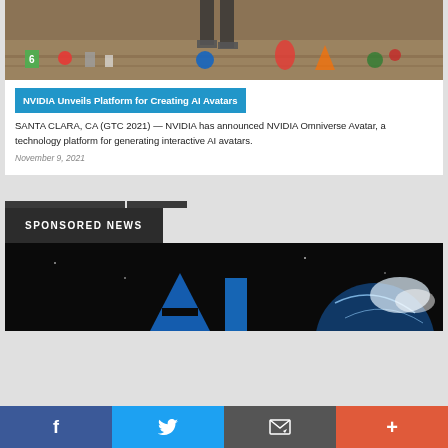[Figure (photo): Colorful toys and game pieces scattered on a wooden floor, with a person's legs visible in the background]
NVIDIA Unveils Platform for Creating AI Avatars
SANTA CLARA, CA (GTC 2021) — NVIDIA has announced NVIDIA Omniverse Avatar, a technology platform for generating interactive AI avatars.
November 9, 2021
SPONSORED NEWS
[Figure (photo): Dark space background with blue geometric shapes and a partial view of a globe or planet]